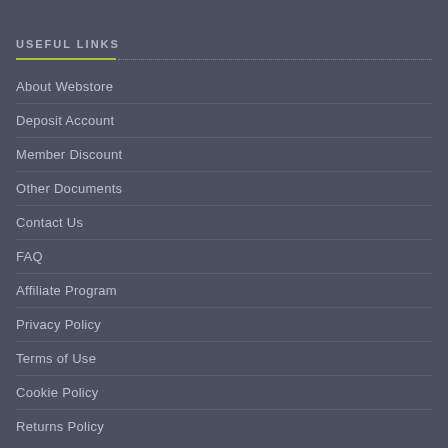USEFUL LINKS
About Webstore
Deposit Account
Member Discount
Other Documents
Contact Us
FAQ
Affiliate Program
Privacy Policy
Terms of Use
Cookie Policy
Returns Policy